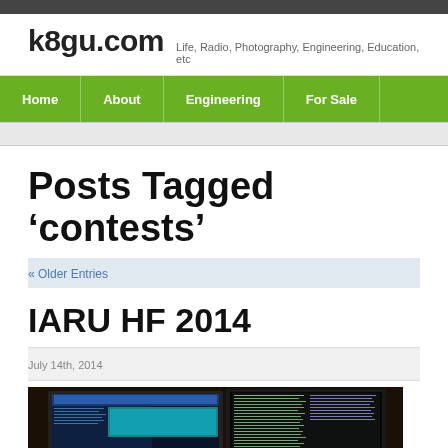k8gu.com — Life, Radio, Photography, Engineering, Education, etc
Posts Tagged 'contests'
« Older Entries
IARU HF 2014
July 14th, 2014
[Figure (photo): Photo of a computer monitor/laptop setup showing radio logging software with blue and teal interface on screen, in a darkened room]